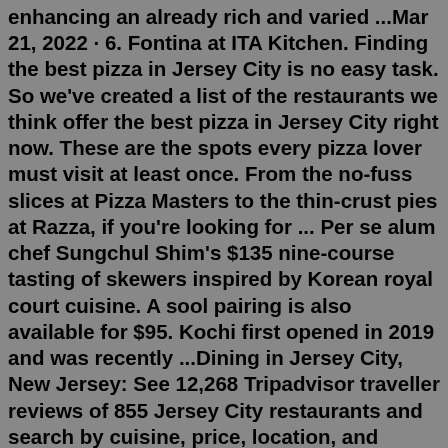enhancing an already rich and varied ...Mar 21, 2022 · 6. Fontina at ITA Kitchen. Finding the best pizza in Jersey City is no easy task. So we've created a list of the restaurants we think offer the best pizza in Jersey City right now. These are the spots every pizza lover must visit at least once. From the no-fuss slices at Pizza Masters to the thin-crust pies at Razza, if you're looking for ... Per se alum chef Sungchul Shim's $135 nine-course tasting of skewers inspired by Korean royal court cuisine. A sool pairing is also available for $95. Kochi first opened in 2019 and was recently ...Dining in Jersey City, New Jersey: See 12,268 Tripadvisor traveller reviews of 855 Jersey City restaurants and search by cuisine, price, location, and more.One of the Philippines' most popular chain restaurants, Max's® Restaurant sits in the Journal Square area of Jersey City. The family-style casual restaurant serves their signature fried chicken, which is best eaten with garlic fried rice. They also have other Filipino dishes, including the noodle dish pancit and a tamarind-based soup ...Taqueria Downtown.